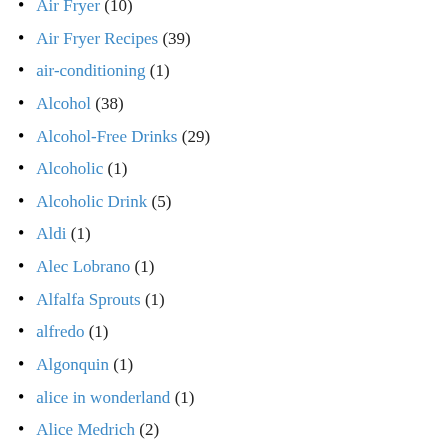Air Fryer (10)
Air Fryer Recipes (39)
air-conditioning (1)
Alcohol (38)
Alcohol-Free Drinks (29)
Alcoholic (1)
Alcoholic Drink (5)
Aldi (1)
Alec Lobrano (1)
Alfalfa Sprouts (1)
alfredo (1)
Algonquin (1)
alice in wonderland (1)
Alice Medrich (2)
Alice Waters (1)
All of our Main Dishes! (1)
All Recipes (112)